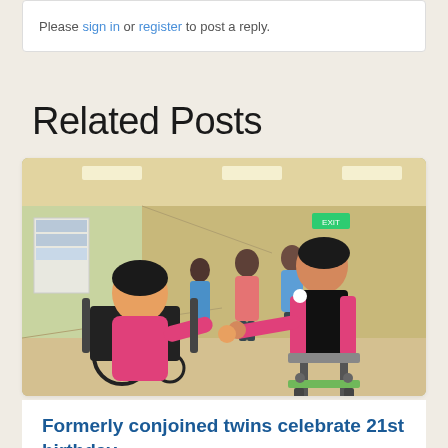Please sign in or register to post a reply.
Related Posts
[Figure (photo): Two young women in a hospital corridor, both wearing pink tops. One is seated in a wheelchair, the other is standing with a medical exoskeleton device attached to her body and legs. They are holding hands and smiling at each other. Medical staff in scrubs are visible in the background.]
Formerly conjoined twins celebrate 21st birthday